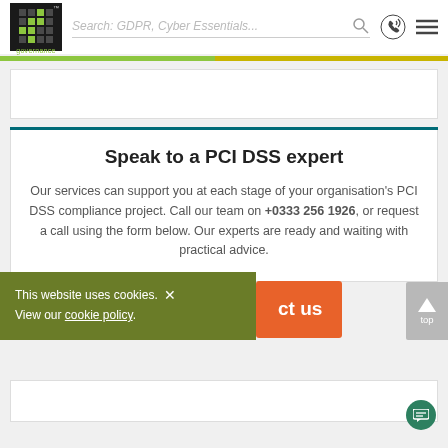IT Governance - Search: GDPR, Cyber Essentials...
Speak to a PCI DSS expert
Our services can support you at each stage of your organisation's PCI DSS compliance project. Call our team on +0333 256 1926, or request a call using the form below. Our experts are ready and waiting with practical advice.
This website uses cookies. View our cookie policy